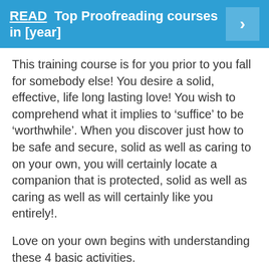[Figure (infographic): Blue banner with linked text 'READ Top Proofreading courses in [year]' and a right-arrow chevron button on the right side]
This training course is for you prior to you fall for somebody else! You desire a solid, effective, life long lasting love! You wish to comprehend what it implies to ‘suffice’ to be ‘worthwhile’. When you discover just how to be safe and secure, solid as well as caring to on your own, you will certainly locate a companion that is protected, solid as well as caring as well as will certainly like you entirely!.
Love on your own begins with understanding these 4 basic activities.
Amongst the major subjects of the program, you will certainly find out:.